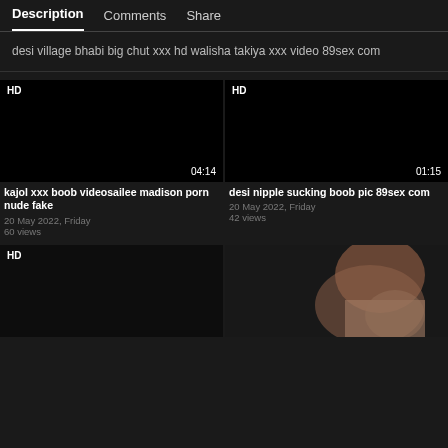Description  Comments  Share
desi village bhabi big chut xxx hd walisha takiya xxx video 89sex com
[Figure (screenshot): Video thumbnail (black/dark) with HD badge and duration 04:14]
kajol xxx boob videosailee madison porn nude fake
20 May 2022, Friday
60 views
[Figure (screenshot): Video thumbnail (black/dark) with HD badge and duration 01:15]
desi nipple sucking boob pic 89sex com
20 May 2022, Friday
42 views
[Figure (screenshot): Video thumbnail (black/dark) with HD badge, bottom-left position]
[Figure (screenshot): Video thumbnail showing partial person image with HD badge, bottom-right position]